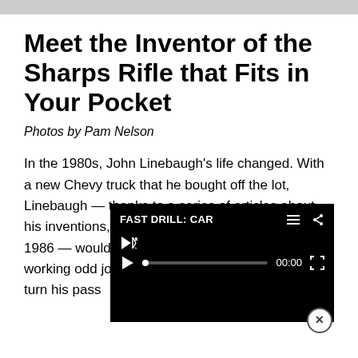Meet the Inventor of the Sharps Rifle that Fits in Your Pocket
Photos by Pam Nelson
In the 1980s, John Linebaugh's life changed. With a new Chevy truck that he bought off the lot, Linebaugh — thanks to a series of articles about his inventions, including a Guns & Ammo cover in 1986 — would finally be able to transition from working odd jobs around t… Wyoming, to turn his pass… firearms design into a full-t…
[Figure (screenshot): Video player overlay showing 'FAST DRILL: CAR' with mute icon, play button, progress bar at 00:00, and fullscreen button. Black background.]